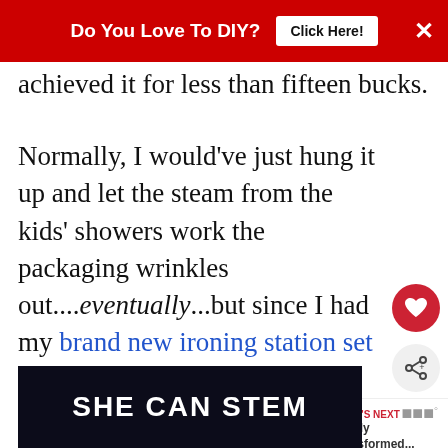Do You Love To DIY? | Click Here! | X
achieved it for less than fifteen bucks.
Normally, I would've just hung it up and let the steam from the kids' showers work the packaging wrinkles out....eventually...but since I had my brand new ironing station set up in the laundry room, I actually ironed them out.
Unbelievable.
[Figure (other): SHE CAN STEM advertisement banner]